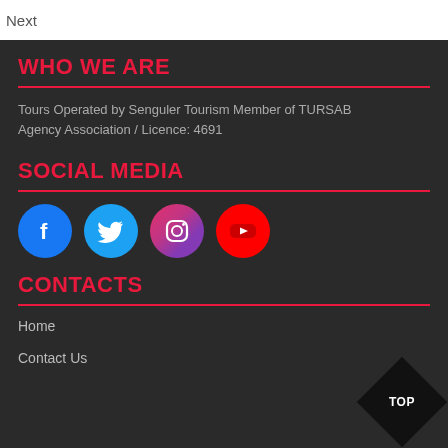Next
WHO WE ARE
Tours Operated by Senguler Tourism Member of TURSAB Agency Association / Licence: 4691
SOCIAL MEDIA
[Figure (infographic): Four social media icons: Facebook (blue circle), Twitter (light blue circle), Instagram (pink/purple gradient circle), YouTube (red circle)]
CONTACTS
Home
Contact Us